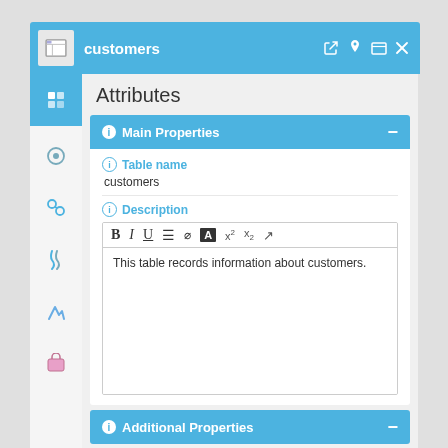customers
Attributes
Main Properties
Table name
customers
Description
This table records information about customers.
Additional Properties